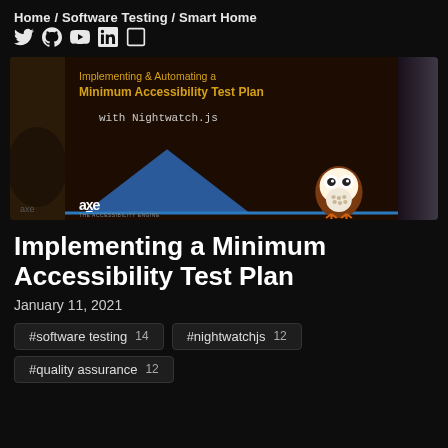Home / Software Testing / Smart Home
[Figure (screenshot): Thumbnail image for a presentation titled 'Implementing & Automating a Minimum Accessibility Test Plan with Nightwatch.js', featuring the axe accessibility engine logo and a Nightwatch.js owl mascot, with a blue triangle graphic on a dark brown background.]
Implementing a Minimum Accessibility Test Plan
January 11, 2021
#software testing  14
#nightwatchjs  12
#quality assurance  12